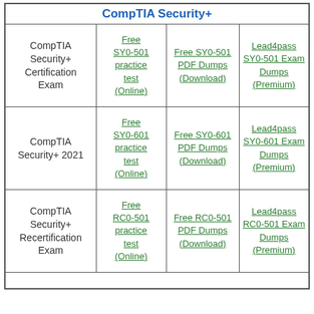CompTIA Security+
|  |  |  |  |
| --- | --- | --- | --- |
| CompTIA Security+ Certification Exam | Free SY0-501 practice test (Online) | Free SY0-501 PDF Dumps (Download) | Lead4pass SY0-501 Exam Dumps (Premium) |
| CompTIA Security+ 2021 | Free SY0-601 practice test (Online) | Free SY0-601 PDF Dumps (Download) | Lead4pass SY0-601 Exam Dumps (Premium) |
| CompTIA Security+ Recertification Exam | Free RC0-501 practice test (Online) | Free RC0-501 PDF Dumps (Download) | Lead4pass RC0-501 Exam Dumps (Premium) |